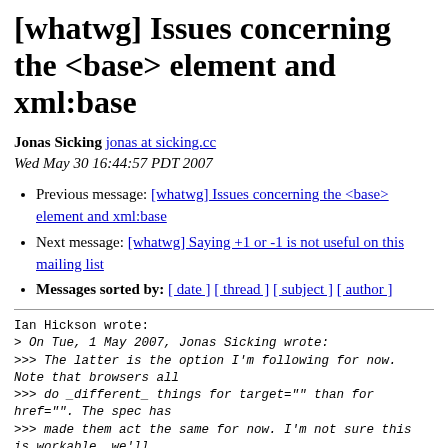[whatwg] Issues concerning the <base> element and xml:base
Jonas Sicking jonas at sicking.cc
Wed May 30 16:44:57 PDT 2007
Previous message: [whatwg] Issues concerning the <base> element and xml:base
Next message: [whatwg] Saying +1 or -1 is not useful on this mailing list
Messages sorted by: [ date ] [ thread ] [ subject ] [ author ]
Ian Hickson wrote:
> On Tue, 1 May 2007, Jonas Sicking wrote:
>>> The latter is the option I'm following for now. Note that browsers all
>>> do _different_ things for target="" than for href="". The spec has
>>> made them act the same for now. I'm not sure this is workable, we'll
>>> have to see when the browser vendors try to get this interoperable. I
>>> can't imagine that it's a huge issue given that the browsers are so